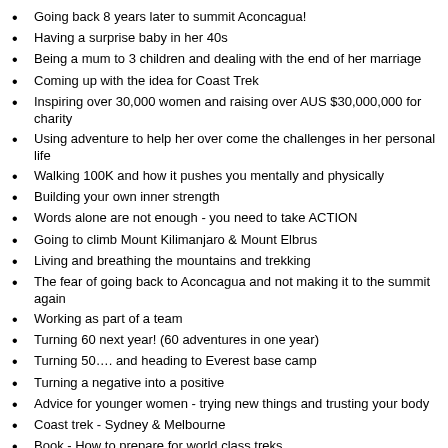Going back 8 years later to summit Aconcagua!
Having a surprise baby in her 40s
Being a mum to 3 children and dealing with the end of her marriage
Coming up with the idea for Coast Trek
Inspiring over 30,000 women and raising over AUS $30,000,000 for charity
Using adventure to help her over come the challenges in her personal life
Walking 100K and how it pushes you mentally and physically
Building your own inner strength
Words alone are not enough - you need to take ACTION
Going to climb Mount Kilimanjaro & Mount Elbrus
Living and breathing the mountains and trekking
The fear of going back to Aconcagua and not making it to the summit again
Working as part of a team
Turning 60 next year! (60 adventures in one year)
Turning 50…. and heading to Everest base camp
Turning a negative into a positive
Advice for younger women - trying new things and trusting your body
Coast trek  - Sydney & Melbourne
Book - How to prepare for world class treks
Social Media